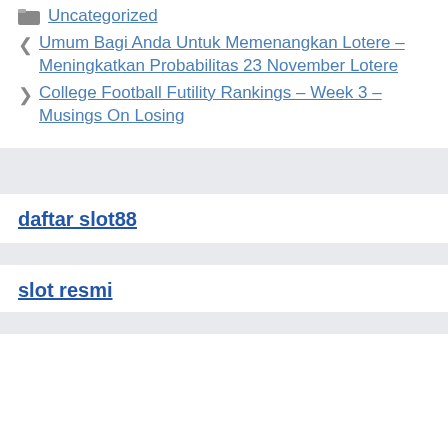Uncategorized
Umum Bagi Anda Untuk Memenangkan Lotere – Meningkatkan Probabilitas 23 November Lotere
College Football Futility Rankings – Week 3 – Musings On Losing
daftar slot88
slot resmi